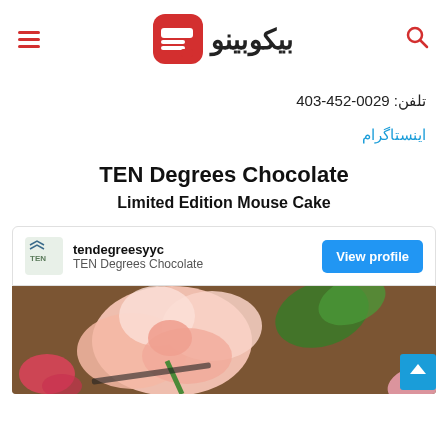بيکوبينو — hamburger menu, logo, search icon
تلفن: 403-452-0029
اينستاگرام
TEN Degrees Chocolate
Limited Edition Mouse Cake
[Figure (screenshot): Instagram widget showing tendegreesyyc / TEN Degrees Chocolate with a blue 'View profile' button and a photo of a rose and cake below]
tendegreesyyc — TEN Degrees Chocolate